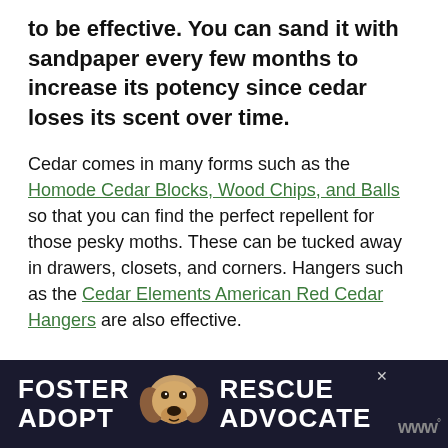to be effective. You can sand it with sandpaper every few months to increase its potency since cedar loses its scent over time.
Cedar comes in many forms such as the Homode Cedar Blocks, Wood Chips, and Balls so that you can find the perfect repellent for those pesky moths. These can be tucked away in drawers, closets, and corners. Hangers such as the Cedar Elements American Red Cedar Hangers are also effective.
[Figure (infographic): Advertisement banner with dark background showing 'FOSTER ADOPT' on the left, a beagle dog image in the center, and 'RESCUE ADVOCATE' on the right, with a close button and logo.]